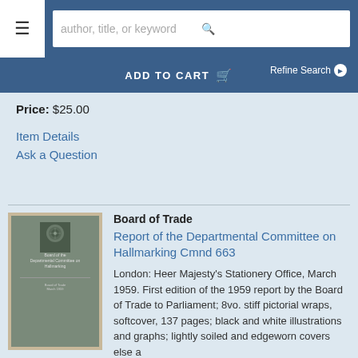author, title, or keyword
ADD TO CART
Refine Search
Price: $25.00
Item Details
Ask a Question
[Figure (photo): Book cover of Board of Trade Report of the Departmental Committee on Hallmarking Cmnd 663, grey/green cover with royal crest]
Board of Trade
Report of the Departmental Committee on Hallmarking Cmnd 663
London: Heer Majesty's Stationery Office, March 1959. First edition of the 1959 report by the Board of Trade to Parliament; 8vo. stiff pictorial wraps, softcover, 137 pages; black and white illustrations and graphs; lightly soiled and edgeworn covers else a